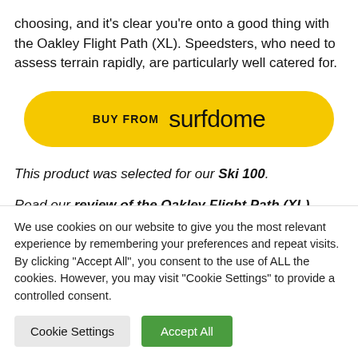choosing, and it's clear you're onto a good thing with the Oakley Flight Path (XL). Speedsters, who need to assess terrain rapidly, are particularly well catered for.
[Figure (other): Yellow pill-shaped buy button with text 'BUY FROM surfdome']
This product was selected for our Ski 100.
Read our review of the Oakley Flight Path (XL).
We use cookies on our website to give you the most relevant experience by remembering your preferences and repeat visits. By clicking "Accept All", you consent to the use of ALL the cookies. However, you may visit "Cookie Settings" to provide a controlled consent.